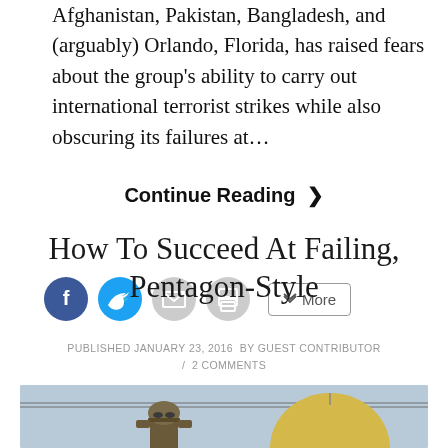Afghanistan, Pakistan, Bangladesh, and (arguably) Orlando, Florida, has raised fears about the group's ability to carry out international terrorist strikes while also obscuring its failures at…
Continue Reading ❯
[Figure (other): Social sharing buttons: Facebook (blue circle), Twitter (blue circle), Email (grey circle), Print (grey circle), and a More button]
How To Succeed At Failing, Pentagon-Style
PUBLISHED JANUARY 23, 2016  BY GUEST CONTRIBUTOR / 2 COMMENTS
[Figure (photo): A soldier wearing a helmet with goggles and a tan/yellow dome-shaped structure in the background against a light blue sky]